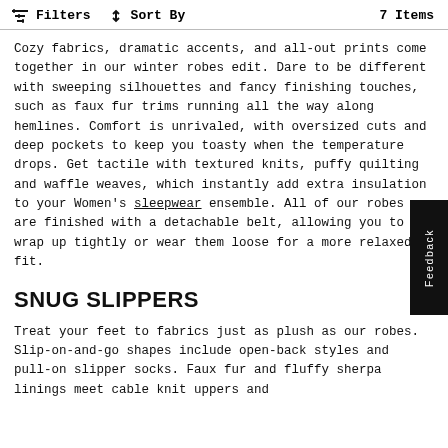Filters   ↑↓ Sort By   7 Items
Cozy fabrics, dramatic accents, and all-out prints come together in our winter robes edit. Dare to be different with sweeping silhouettes and fancy finishing touches, such as faux fur trims running all the way along hemlines. Comfort is unrivaled, with oversized cuts and deep pockets to keep you toasty when the temperature drops. Get tactile with textured knits, puffy quilting and waffle weaves, which instantly add extra insulation to your Women's sleepwear ensemble. All of our robes are finished with a detachable belt, allowing you to wrap up tightly or wear them loose for a more relaxed fit.
SNUG SLIPPERS
Treat your feet to fabrics just as plush as our robes. Slip-on-and-go shapes include open-back styles and pull-on slipper socks. Faux fur and fluffy sherpa linings meet cable knit uppers and